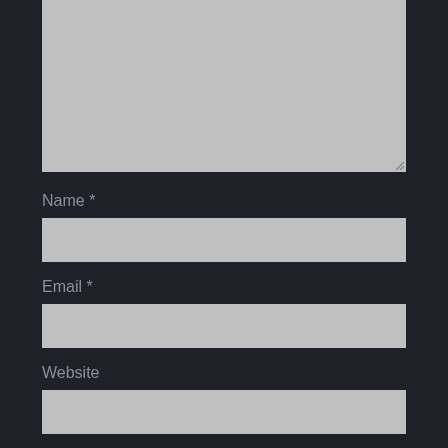[Figure (screenshot): A large textarea input field with gray background and resize handle at bottom-right]
Name *
[Figure (screenshot): A text input field for Name with gray background]
Email *
[Figure (screenshot): A text input field for Email with gray background]
Website
[Figure (screenshot): A text input field for Website with gray background]